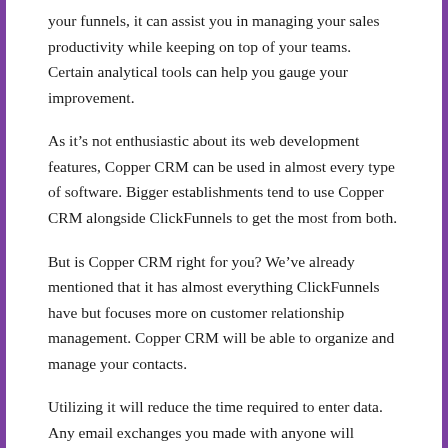your funnels, it can assist you in managing your sales productivity while keeping on top of your teams. Certain analytical tools can help you gauge your improvement.
As it’s not enthusiastic about its web development features, Copper CRM can be used in almost every type of software. Bigger establishments tend to use Copper CRM alongside ClickFunnels to get the most from both.
But is Copper CRM right for you? We’ve already mentioned that it has almost everything ClickFunnels have but focuses more on customer relationship management. Copper CRM will be able to organize and manage your contacts.
Utilizing it will reduce the time required to enter data. Any email exchanges you made with anyone will automatically be entered into the database too. Apart from that this program lets you keep track of leads and track projects, even if you’ve already closed deals using